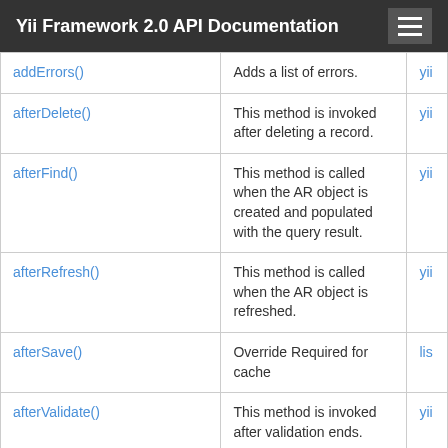Yii Framework 2.0 API Documentation
| Method | Description | Defined By |
| --- | --- | --- |
| addErrors() | Adds a list of errors. | yii |
| afterDelete() | This method is invoked after deleting a record. | yii |
| afterFind() | This method is called when the AR object is created and populated with the query result. | yii |
| afterRefresh() | This method is called when the AR object is refreshed. | yii |
| afterSave() | Override Required for cache | lis |
| afterValidate() | This method is invoked after validation ends. | yii |
| attachBehavior() | Attaches a behavior to this component. | yii |